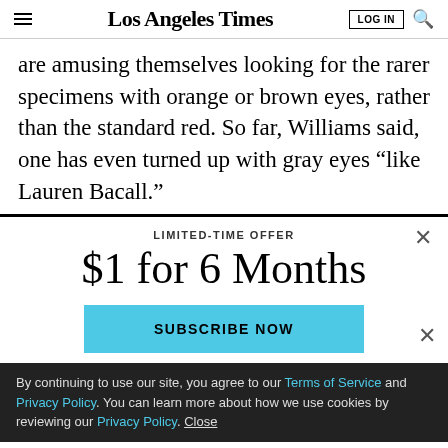Los Angeles Times
are amusing themselves looking for the rarer specimens with orange or brown eyes, rather than the standard red. So far, Williams said, one has even turned up with gray eyes “like Lauren Bacall.”
LIMITED-TIME OFFER
$1 for 6 Months
SUBSCRIBE NOW
By continuing to use our site, you agree to our Terms of Service and Privacy Policy. You can learn more about how we use cookies by reviewing our Privacy Policy. Close